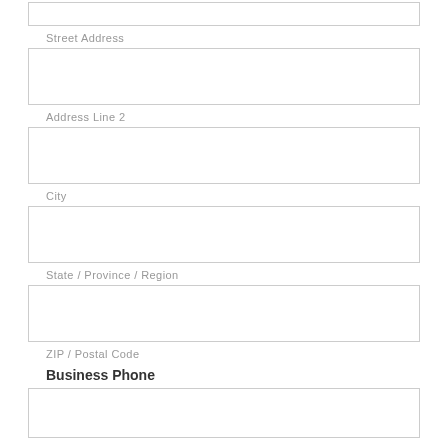Street Address
Address Line 2
City
State / Province / Region
ZIP / Postal Code
Business Phone